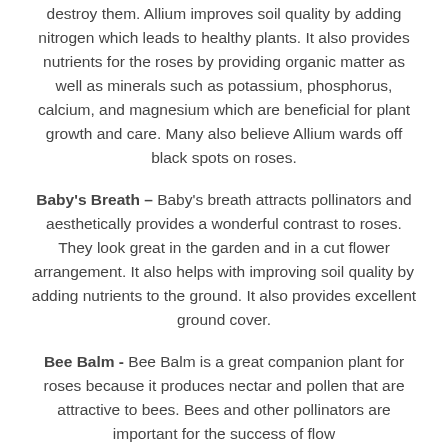destroy them. Allium improves soil quality by adding nitrogen which leads to healthy plants. It also provides nutrients for the roses by providing organic matter as well as minerals such as potassium, phosphorus, calcium, and magnesium which are beneficial for plant growth and care. Many also believe Allium wards off black spots on roses.
Baby's Breath – Baby's breath attracts pollinators and aesthetically provides a wonderful contrast to roses. They look great in the garden and in a cut flower arrangement. It also helps with improving soil quality by adding nutrients to the ground. It also provides excellent ground cover.
Bee Balm - Bee Balm is a great companion plant for roses because it produces nectar and pollen that are attractive to bees. Bees and other pollinators are important for the success of flow...